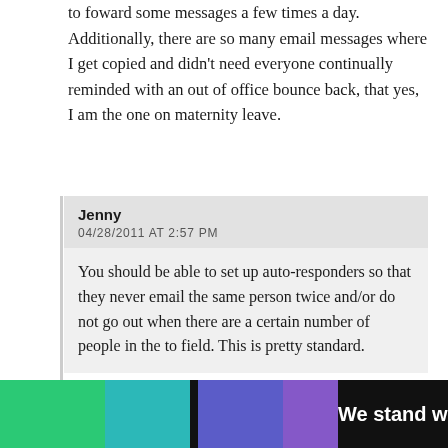to foward some messages a few times a day. Additionally, there are so many email messages where I get copied and didn't need everyone continually reminded with an out of office bounce back, that yes, I am the one on maternity leave.
Jenny
04/28/2011 AT 2:57 PM
You should be able to set up auto-responders so that they never email the same person twice and/or do not go out when there are a certain number of people in the to field. This is pretty standard.
JB
04/29/2011 AT 9:29 AM
I did the same thing as Mel. It worked great for me.
[Figure (screenshot): Advertisement banner at bottom: colorful gradient blocks with text 'We stand with you.' on dark background with close buttons]